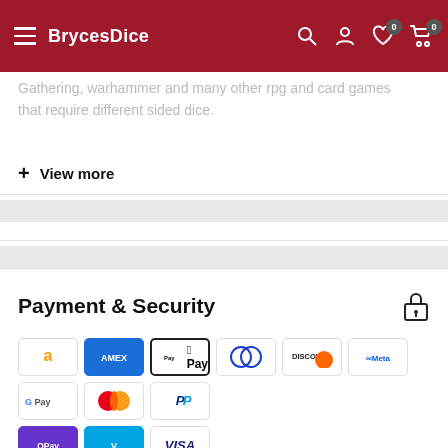BrycesDice
Gathering, warhammer and many other rpg and card games that require different sided dice.
+ View more
Payment & Security
[Figure (logo): Payment method logos: Amazon, Amex, Apple Pay, Diners Club, Discover, Meta Pay, Google Pay, Mastercard, PayPal, OPay, Venmo, Visa]
Your payment information is processed securely. We do not store credit card details nor have access to your credit card